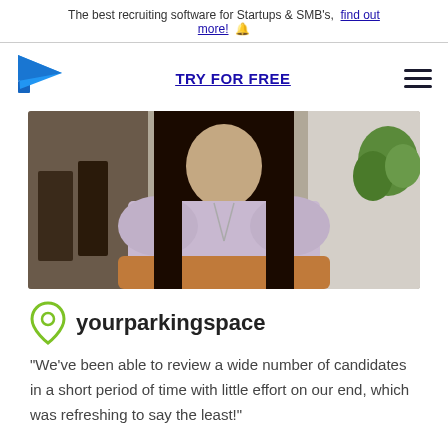The best recruiting software for Startups & SMB's, find out more! 🔔
[Figure (logo): Blue paper plane logo icon]
TRY FOR FREE
[Figure (photo): Photo of a woman with long dark hair wearing a light purple/pink knit cardigan and chain necklace, seated indoors]
[Figure (logo): yourparkingspace logo with green map pin icon]
"We've been able to review a wide number of candidates in a short period of time with little effort on our end, which was refreshing to say the least!"